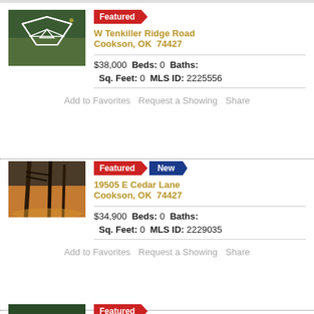[Figure (photo): Aerial view of wooded ridge road property with white arrow markers]
Featured
W Tenkiller Ridge Road
Cookson, OK 74427
$38,000  Beds: 0  Baths:
Sq. Feet: 0  MLS ID: 2225556
Add to Favorites  Request a Showing  Share
[Figure (photo): Autumn landscape with bare trees silhouetted against orange/golden field at sunset]
Featured  New
19505 E Cedar Lane
Cookson, OK 74427
$34,900  Beds: 0  Baths:
Sq. Feet: 0  MLS ID: 2229035
Add to Favorites  Request a Showing  Share
[Figure (photo): Aerial view of wooded ridge property similar to first listing]
Featured
W Tenkiller Ridge Road
Cookson, OK 74427